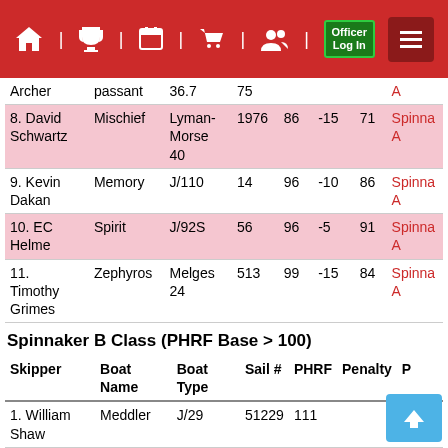Navigation bar with home, trophy, calendar, cart, users, Officer Log In, menu icons
| Skipper | Boat Name | Boat Type | Sail # | PHRF | Penalty | Fin | Class |
| --- | --- | --- | --- | --- | --- | --- | --- |
| Archer | passant | 36.7 | 75 |  |  |  | A |
| 8. David Schwartz | Mischief | Lyman-Morse 40 | 1976 | 86 | -15 | 71 | Spinna A |
| 9. Kevin Dakan | Memory | J/110 | 14 | 96 | -10 | 86 | Spinna A |
| 10. EC Helme | Spirit | J/92S | 56 | 96 | -5 | 91 | Spinna A |
| 11. Timothy Grimes | Zephyros | Melges 24 | 513 | 99 | -15 | 84 | Spinna A |
Spinnaker B Class (PHRF Base > 100)
| Skipper | Boat Name | Boat Type | Sail # | PHRF | Penalty | P |
| --- | --- | --- | --- | --- | --- | --- |
| 1. William Shaw | Meddler | J/29 |  | 51229 | 111 |  |